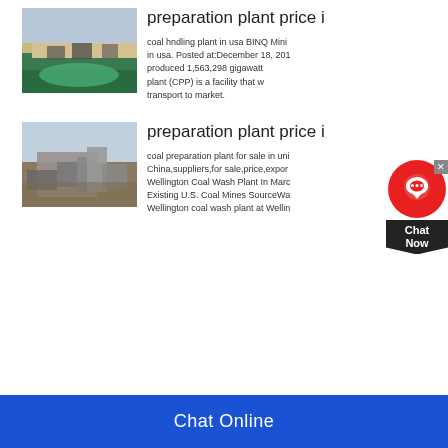preparation plant price i...
[Figure (photo): Aerial view of an open-pit mining operation with green water pool and sandy terrain]
coal hndling plant in usa BINQ Mining... in usa. Posted at:December 18, 201... produced 1,563,298 gigawatt... plant (CPP) is a facility that w...s transport to market.
preparation plant price i...
[Figure (photo): Large mining excavator or coal preparation machine on a dirt site with trees in background]
coal preparation plant for sale in uni... China,suppliers,for sale,price,expor... Wellington Coal Wash Plant In Marc... Existing U.S. Coal Mines SourceWa... Wellington coal wash plant at Wellin...
Chat Online